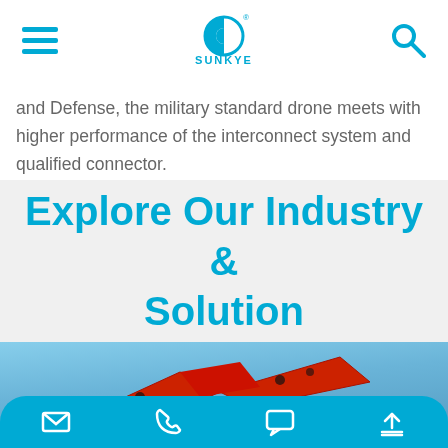SUNKYE navigation header with hamburger menu, logo, and search icon
and Defense, the military standard drone meets with higher performance of the interconnect system and qualified connector.
Explore Our Industry & Solution
[Figure (photo): Red boomerang-shaped drone aircraft against a blue sky background]
Contact bar with email, phone, chat, and upload icons